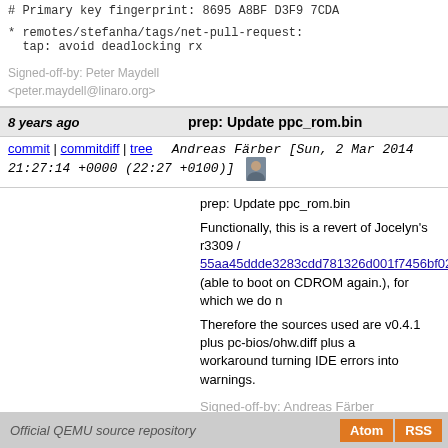# Primary key fingerprint: 8695 A8BF D3F9 7CDA
* remotes/stefanha/tags/net-pull-request:
  tap: avoid deadlocking rx
Signed-off-by: Peter Maydell <peter.maydell@linaro.org>
8 years ago    prep: Update ppc_rom.bin
commit | commitdiff | tree   Andreas Färber [Sun, 2 Mar 2014 21:27:14 +0000 (22:27 +0100)]
prep: Update ppc_rom.bin

Functionally, this is a revert of Jocelyn's r3309 / 55aa45ddde3283cdd781326d001f7456bf02f684 (able to boot on CDROM again.), for which we do n

Therefore the sources used are v0.4.1 plus pc-bios/ohw.diff plus a workaround turning IDE errors into warnings.

Signed-off-by: Andreas Färber <andreas.faerber@web.de>
next
Official QEMU source repository